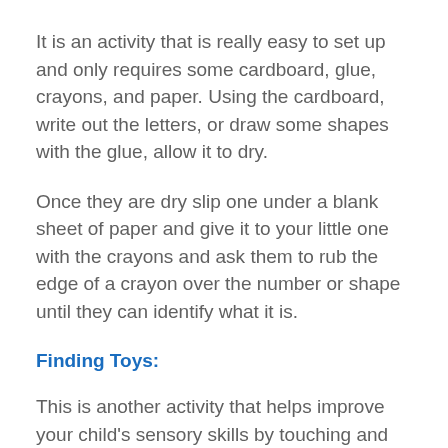It is an activity that is really easy to set up and only requires some cardboard, glue, crayons, and paper. Using the cardboard, write out the letters, or draw some shapes with the glue, allow it to dry.
Once they are dry slip one under a blank sheet of paper and give it to your little one with the crayons and ask them to rub the edge of a crayon over the number or shape until they can identify what it is.
Finding Toys:
This is another activity that helps improve your child's sensory skills by touching and feeling various items.